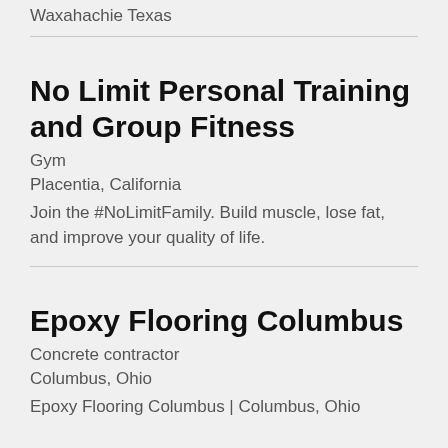Waxahachie Texas
No Limit Personal Training and Group Fitness
Gym
Placentia, California
Join the #NoLimitFamily. Build muscle, lose fat, and improve your quality of life.
Epoxy Flooring Columbus
Concrete contractor
Columbus, Ohio
Epoxy Flooring Columbus | Columbus, Ohio